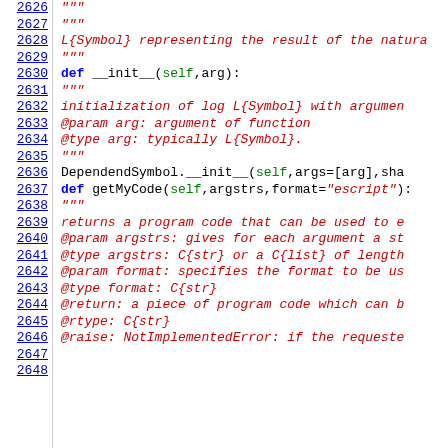[Figure (screenshot): Python source code viewer showing lines 2626-2648 with syntax highlighting. Line numbers in blue on left, code on right with keywords in blue bold, strings/comments in red italic, self/green identifiers in green.]